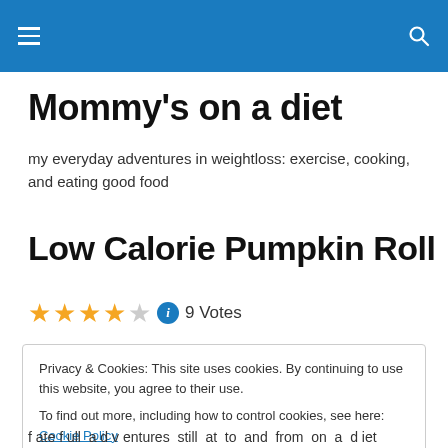Mommy's on a diet – navigation header
Mommy's on a diet
my everyday adventures in weightloss: exercise, cooking, and eating good food
Low Calorie Pumpkin Roll
★★★★☆ ⓘ 9 Votes
Privacy & Cookies: This site uses cookies. By continuing to use this website, you agree to their use.
To find out more, including how to control cookies, see here: Cookie Policy
fate full adventures still at to and from on a d iet